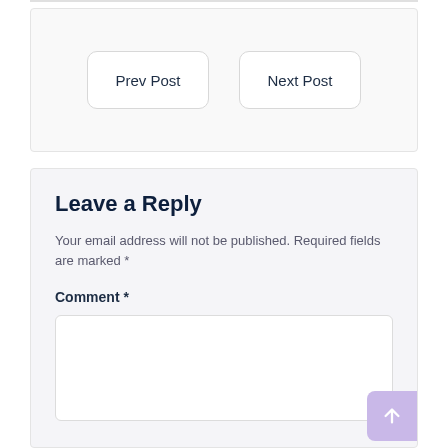Prev Post
Next Post
Leave a Reply
Your email address will not be published. Required fields are marked *
Comment *